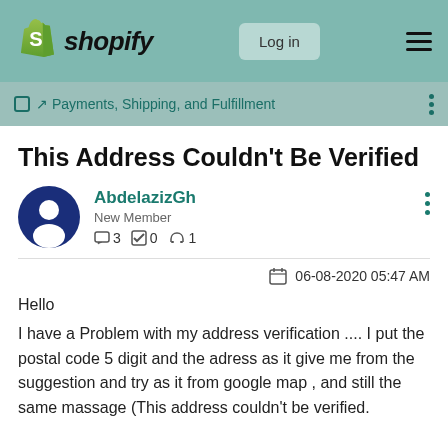Shopify — Log in
Payments, Shipping, and Fulfillment
This Address Couldn't Be Verified
AbdelazizGh
New Member
3  0  1
06-08-2020 05:47 AM
Hello
I have a Problem with my address verification ....  I put the postal code 5 digit and the adress as it give me from the suggestion and try as it from google map , and still the same massage (This address couldn't be verified.